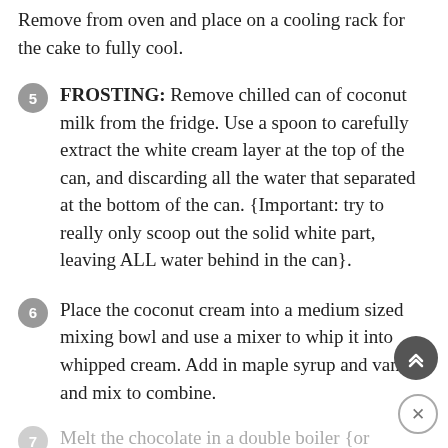Remove from oven and place on a cooling rack for the cake to fully cool.
5 FROSTING: Remove chilled can of coconut milk from the fridge. Use a spoon to carefully extract the white cream layer at the top of the can, and discarding all the water that separated at the bottom of the can. {Important: try to really only scoop out the solid white part, leaving ALL water behind in the can}.
6 Place the coconut cream into a medium sized mixing bowl and use a mixer to whip it into whipped cream. Add in maple syrup and vanilla and mix to combine.
7 Melt the chocolate in a double boiler {or microwave} and pour into the whipped